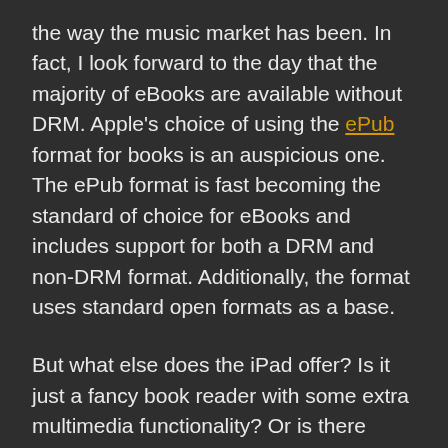the way the music market has been. In fact, I look forward to the day that the majority of eBooks are available without DRM. Apple's choice of using the ePub format for books is an auspicious one. The ePub format is fast becoming the standard of choice for eBooks and includes support for both a DRM and non-DRM format. Additionally, the format uses standard open formats as a base.
But what else does the iPad offer? Is it just a fancy book reader with some extra multimedia functionality? Or is there something more?
There has been some speculation that the iPad represents more than just an entry into the tablet market. That it, instead, represents an entry into the